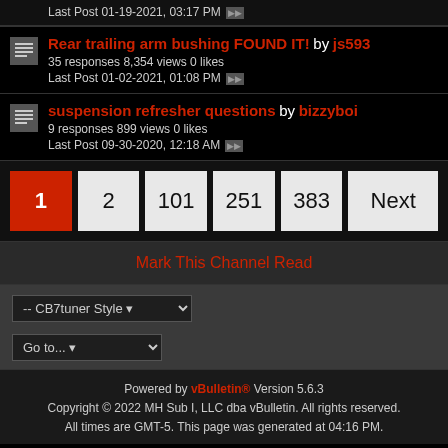Last Post 01-19-2021, 03:17 PM
Rear trailing arm bushing FOUND IT! by js593 — 35 responses 8,354 views 0 likes — Last Post 01-02-2021, 01:08 PM
suspension refresher questions by bizzyboi — 9 responses 899 views 0 likes — Last Post 09-30-2020, 12:18 AM
Pagination: 1 (current), 2, 101, 251, 383, Next
Mark This Channel Read
-- CB7tuner Style
Go to...
Powered by vBulletin® Version 5.6.3
Copyright © 2022 MH Sub I, LLC dba vBulletin. All rights reserved.
All times are GMT-5. This page was generated at 04:16 PM.